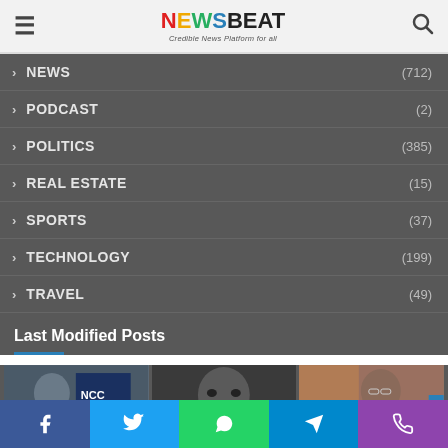NEWSBEAT – Credible News Platform for all
NEWS (712)
PODCAST (2)
POLITICS (385)
REAL ESTATE (15)
SPORTS (37)
TECHNOLOGY (199)
TRAVEL (49)
Last Modified Posts
[Figure (photo): Three thumbnail images in a row showing news article preview photos]
Social share bar: Facebook, Twitter, WhatsApp, Telegram, Phone